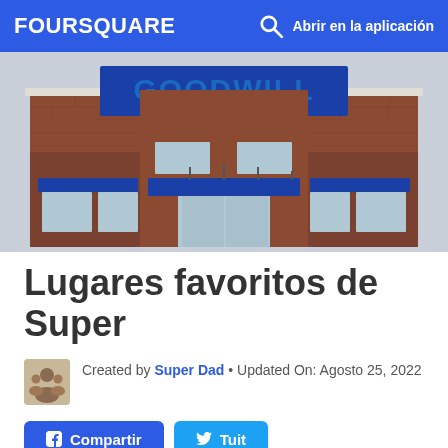FOURSQUARE  Abrir en la aplicación
[Figure (photo): Exterior photo of a Goodwill store — brick building facade with large blue 'GOODWILL' letters sign, blue awnings over windows and entrance door]
Lugares favoritos de Super
Created by Super Dad • Updated On: Agosto 25, 2022
Compartir  Tuit